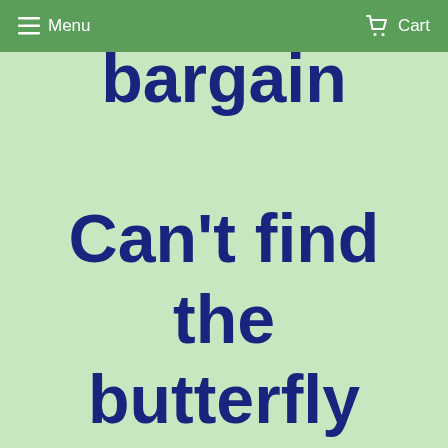Menu  Cart
bargain Can't find the butterfly merchandise you want in our listing?